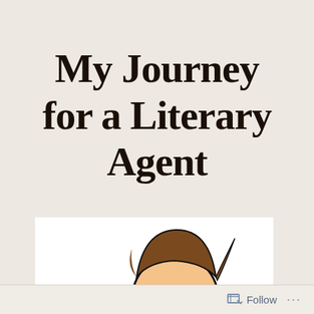My Journey for a Literary Agent
[Figure (illustration): Cartoon illustration of a person with a brown hat and round glasses holding up and reading a document or paper, shown from shoulders up against a white background.]
Follow ...